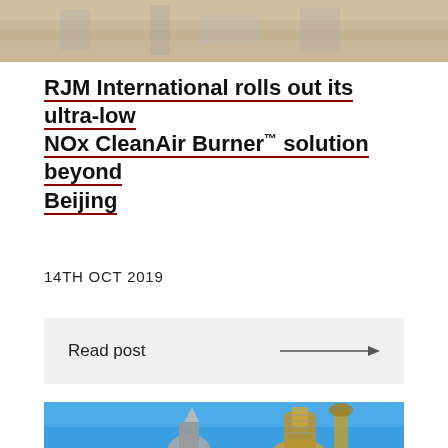[Figure (photo): Top portion of a photo showing what appears to be a laboratory or industrial setting with equipment on a wooden surface]
RJM International rolls out its ultra-low NOx CleanAir Burner™ solution beyond Beijing
14TH OCT 2019
Read post →
[Figure (photo): Industrial equipment photo showing what appears to be burner or combustion components against a blue sky background]